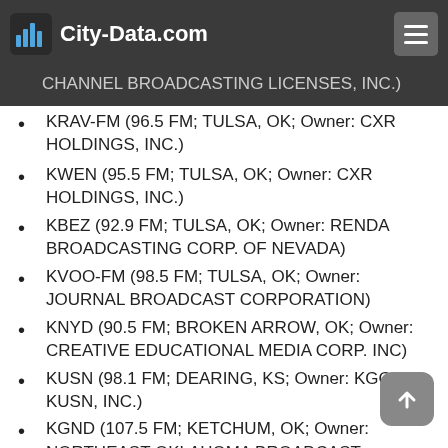City-Data.com
CHANNEL BROADCASTING LICENSES, INC.) KRAV-FM (96.5 FM; TULSA, OK; Owner: CXR HOLDINGS, INC.)
KWEN (95.5 FM; TULSA, OK; Owner: CXR HOLDINGS, INC.)
KBEZ (92.9 FM; TULSA, OK; Owner: RENDA BROADCASTING CORP. OF NEVADA)
KVOO-FM (98.5 FM; TULSA, OK; Owner: JOURNAL BROADCAST CORPORATION)
KNYD (90.5 FM; BROKEN ARROW, OK; Owner: CREATIVE EDUCATIONAL MEDIA CORP. INC)
KUSN (98.1 FM; DEARING, KS; Owner: KGGF-KUSN, INC.)
KGND (107.5 FM; KETCHUM, OK; Owner: NORTHEAST OKLAHOMA BROADCAST NETWORK)
KKRK (98.9 FM; COFFEYVILLE, KS; Owner: KGGF-KUSN, INC.)
KTBT (101.5 FM; COLLINSVILLE, OK; Owner: CLEAR CHANNEL BROADCASTING LICENSES...